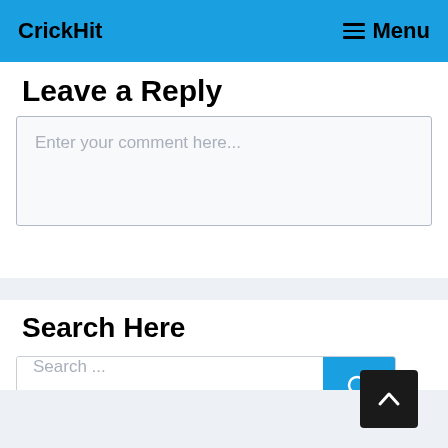CrickHit  Menu
Leave a Reply
Enter your comment here...
Search Here
Search ...
[Figure (other): Back to top arrow button, dark background with white chevron up arrow]